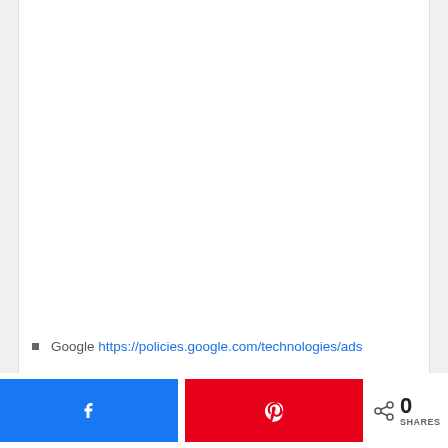Google https://policies.google.com/technologies/ads
[Figure (other): Social sharing footer bar with Facebook share button (blue), Pinterest share button (red), a share icon, count '0', and label 'SHARES']